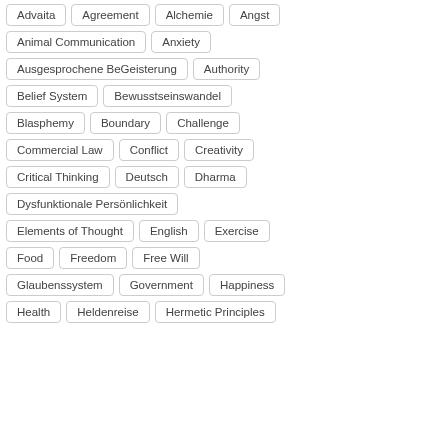Advaita
Agreement
Alchemie
Angst
Animal Communication
Anxiety
Ausgesprochene BeGeisterung
Authority
Belief System
Bewusstseinswandel
Blasphemy
Boundary
Challenge
Commercial Law
Conflict
Creativity
Critical Thinking
Deutsch
Dharma
Dysfunktionale Persönlichkeit
Elements of Thought
English
Exercise
Food
Freedom
Free Will
Glaubenssystem
Government
Happiness
Health
Heldenreise
Hermetic Principles